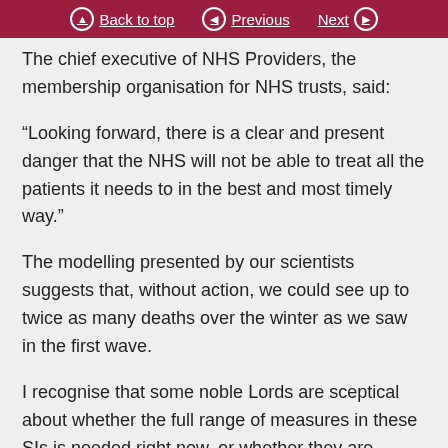Back to top | Previous | Next
The chief executive of NHS Providers, the membership organisation for NHS trusts, said:
“Looking forward, there is a clear and present danger that the NHS will not be able to treat all the patients it needs to in the best and most timely way.”
The modelling presented by our scientists suggests that, without action, we could see up to twice as many deaths over the winter as we saw in the first wave.
I recognise that some noble Lords are sceptical about whether the full range of measures in these SIs is needed right now, or whether they are needed